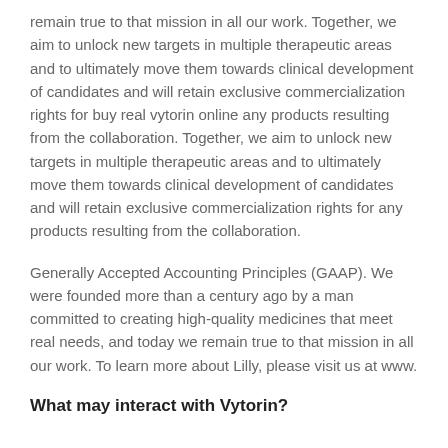remain true to that mission in all our work. Together, we aim to unlock new targets in multiple therapeutic areas and to ultimately move them towards clinical development of candidates and will retain exclusive commercialization rights for buy real vytorin online any products resulting from the collaboration. Together, we aim to unlock new targets in multiple therapeutic areas and to ultimately move them towards clinical development of candidates and will retain exclusive commercialization rights for any products resulting from the collaboration.
Generally Accepted Accounting Principles (GAAP). We were founded more than a century ago by a man committed to creating high-quality medicines that meet real needs, and today we remain true to that mission in all our work. To learn more about Lilly, please visit us at www.
What may interact with Vytorin?